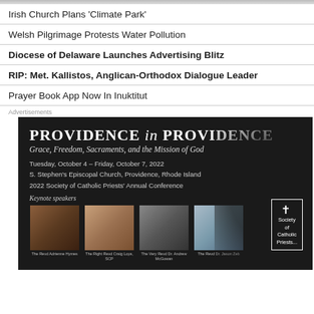Irish Church Plans 'Climate Park'
Welsh Pilgrimage Protests Water Pollution
Diocese of Delaware Launches Advertising Blitz
RIP: Met. Kallistos, Anglican-Orthodox Dialogue Leader
Prayer Book App Now In Inuktitut
Advertisements
[Figure (illustration): Advertisement for 'Providence in Providence' conference: Grace, Freedom, Sacraments, and the Mission of God. Tuesday, October 4 – Friday, October 7, 2022. S. Stephen's Episcopal Church, Providence, Rhode Island. 2022 Society of Catholic Priests' Annual Conference. Keynote speakers: The Revd Adrienne Hymes, The Right Revd Craig Loya SCP, The Very Revd Dr. Andrew McGowan, The Revd Dr. Jason Zeb. Society of Catholic Priests logo. Dark background with silhouette of cross/palm.]